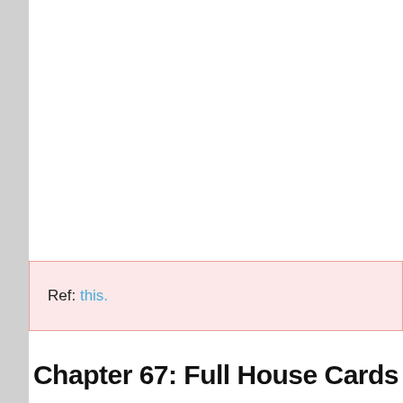Ref: this.
Chapter 67: Full House  Cards